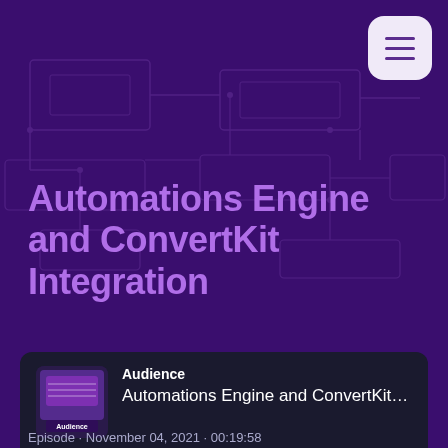[Figure (screenshot): Hamburger menu button (three horizontal lines) in rounded white square, top right corner]
Automations Engine and ConvertKit Integration
[Figure (screenshot): Podcast player card with Audience podcast thumbnail, episode title 'Automations Engine and ConvertKit Integ', play button, rewind 10s, 1x speed, forward 30s controls, time 00:00 / 00:19:58, castos branding, SUBSCRIBE and SHARE buttons]
Episode · November 04, 2021 · 00:19:58